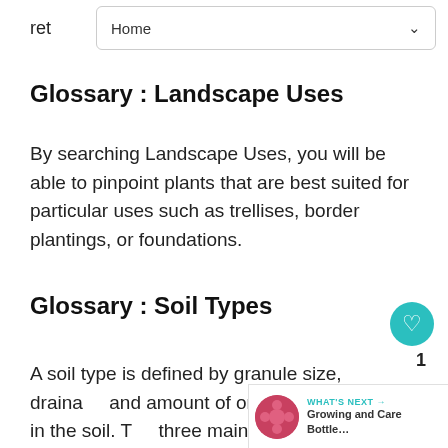ret   Home
Glossary : Landscape Uses
By searching Landscape Uses, you will be able to pinpoint plants that are best suited for particular uses such as trellises, border plantings, or foundations.
Glossary : Soil Types
A soil type is defined by granule size, drainage, and amount of organic material in the soil. The three main soil types are sand, loam,... Sand has the largest particle size, no organic matter, little to no fertility, and drains rapidly.